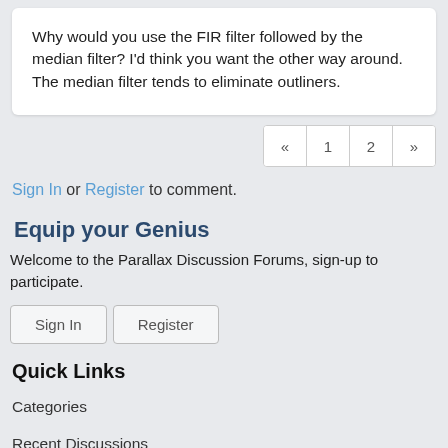Why would you use the FIR filter followed by the median filter? I'd think you want the other way around. The median filter tends to eliminate outliners.
« 1 2 »
Sign In or Register to comment.
Equip your Genius
Welcome to the Parallax Discussion Forums, sign-up to participate.
Sign In   Register
Quick Links
Categories
Recent Discussions